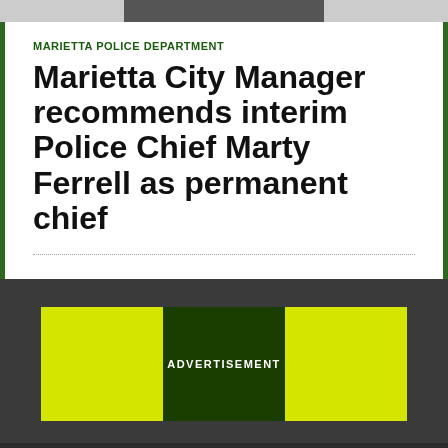[Figure (photo): Top image bar with gray and dark sections]
MARIETTA POLICE DEPARTMENT
Marietta City Manager recommends interim Police Chief Marty Ferrell as permanent chief
[Figure (infographic): Advertisement banner with yellow side panels and dark green center reading ADVERTISEMENT]
[Figure (photo): Bottom dark section of the page]